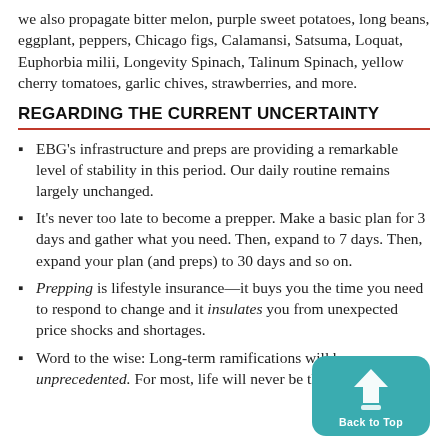we also propagate bitter melon, purple sweet potatoes, long beans, eggplant, peppers, Chicago figs, Calamansi, Satsuma, Loquat, Euphorbia milii, Longevity Spinach, Talinum Spinach, yellow cherry tomatoes, garlic chives, strawberries, and more.
REGARDING THE CURRENT UNCERTAINTY
EBG's infrastructure and preps are providing a remarkable level of stability in this period. Our daily routine remains largely unchanged.
It's never too late to become a prepper. Make a basic plan for 3 days and gather what you need. Then, expand to 7 days. Then, expand your plan (and preps) to 30 days and so on.
Prepping is lifestyle insurance—it buys you the time you need to respond to change and it insulates you from unexpected price shocks and shortages.
Word to the wise: Long-term ramifications will be unprecedented. For most, life will never be the same again.
[Figure (other): Back to Top button: teal rounded rectangle with a white house/arrow icon and 'Back to Top' label]